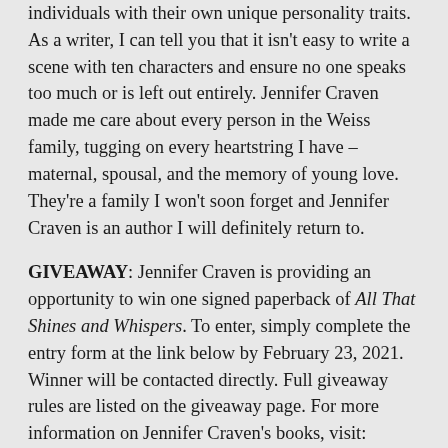individuals with their own unique personality traits. As a writer, I can tell you that it isn't easy to write a scene with ten characters and ensure no one speaks too much or is left out entirely. Jennifer Craven made me care about every person in the Weiss family, tugging on every heartstring I have – maternal, spousal, and the memory of young love. They're a family I won't soon forget and Jennifer Craven is an author I will definitely return to.
GIVEAWAY: Jennifer Craven is providing an opportunity to win one signed paperback of All That Shines and Whispers. To enter, simply complete the entry form at the link below by February 23, 2021. Winner will be contacted directly. Full giveaway rules are listed on the giveaway page. For more information on Jennifer Craven's books, visit:
https://www.jencraven.com/